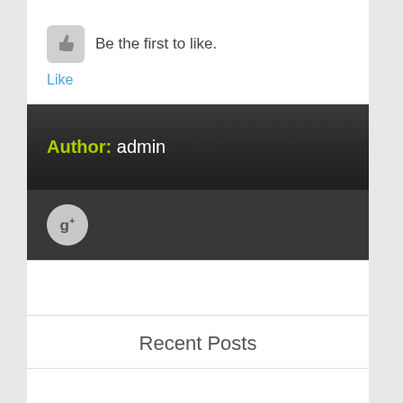[Figure (illustration): Thumbs up icon in a rounded grey square, with text 'Be the first to like.']
Like
Author: admin
[Figure (logo): Google+ circular icon in grey]
Recent Posts